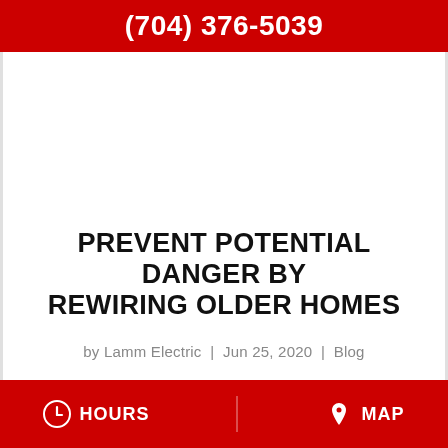(704) 376-5039
PREVENT POTENTIAL DANGER BY REWIRING OLDER HOMES
by Lamm Electric  |  Jun 25, 2020  |  Blog
HOURS   MAP